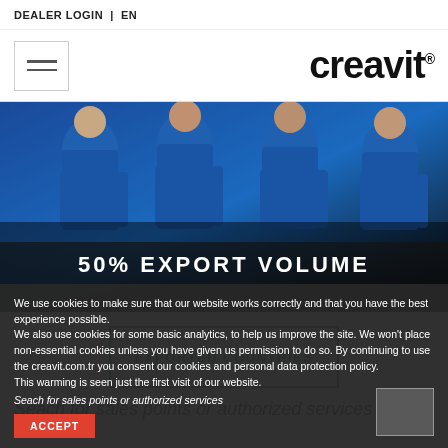DEALER LOGIN | EN
[Figure (screenshot): Website navigation bar with hamburger menu icon on left and Creavit logo on right]
[Figure (photo): Hero image showing workers in blue uniforms with overlay text '50% EXPORT VOLUME']
50% EXPORT VOLUME
EXPORTED COUNTRIES
Seach for sales points or authorized services
We use cookies to make sure that our website works correctly and that you have the best experience possible.
We also use cookies for some basic analytics, to help us improve the site. We won't place non-essential cookies unless you have given us permission to do so. By continuing to use the creavit.com.tr you consent our cookies and personal data protection policy.
This warming is seen just the first visit of our website.
ACCEPT